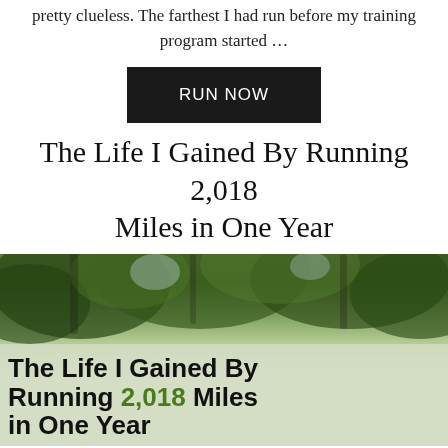pretty clueless. The farthest I had run before my training program started …
RUN NOW
The Life I Gained By Running 2,018 Miles in One Year
[Figure (photo): Outdoor photo of trees with green foliage, overlaid with bold text reading 'The Life I Gained By Running 2,018 Miles in One Year' where 2,018 is in green color]